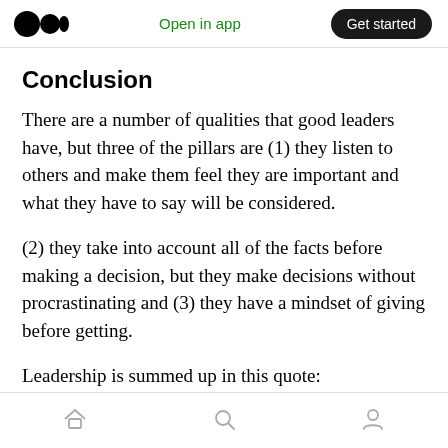Open in app | Get started
Conclusion
There are a number of qualities that good leaders have, but three of the pillars are (1) they listen to others and make them feel they are important and what they have to say will be considered.
(2) they take into account all of the facts before making a decision, but they make decisions without procrastinating and (3) they have a mindset of giving before getting.
Leadership is summed up in this quote:
Home | Search | Profile